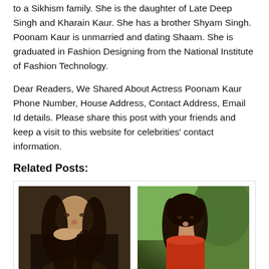to a Sikhism family. She is the daughter of Late Deep Singh and Kharain Kaur. She has a brother Shyam Singh. Poonam Kaur is unmarried and dating Shaam. She is graduated in Fashion Designing from the National Institute of Fashion Technology.
Dear Readers, We Shared About Actress Poonam Kaur Phone Number, House Address, Contact Address, Email Id details. Please share this post with your friends and keep a visit to this website for celebrities' contact information.
Related Posts:
[Figure (photo): Photo of Saiyami Kher, a woman with long curly dark hair resting her chin on her hand]
Saiyami Kher Phone
[Figure (photo): Photo of Meenakshi Dixit, a woman with long dark hair wearing a red off-shoulder top, outdoors]
Meenakshi Dixit